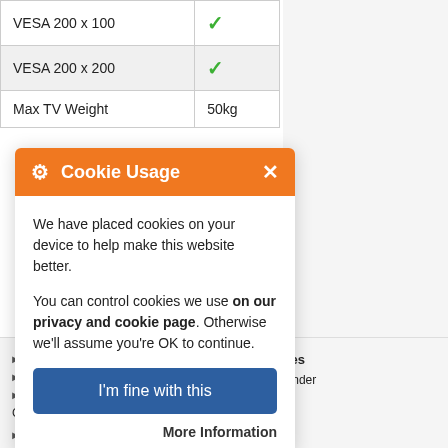| Feature | Value |
| --- | --- |
| VESA 200 x 100 | ✓ |
| VESA 200 x 200 | ✓ |
| Max TV Weight | 50kg |
[Figure (screenshot): Cookie Usage modal dialog with orange header, gear icon, close button, body text about cookies, 'I'm fine with this' blue button, and 'More Information' link]
We have placed cookies on your device to help make this website better.
You can control cookies we use on our privacy and cookie page. Otherwise we'll assume you're OK to continue.
I'm fine with this
More Information
▶ ervice   Site Services   ▶ gon Buster ▶ Bracket Finder   ▶ oney Back ▶ Login   Guarantee   ▶ Terms & Conditions   ▶ My Account